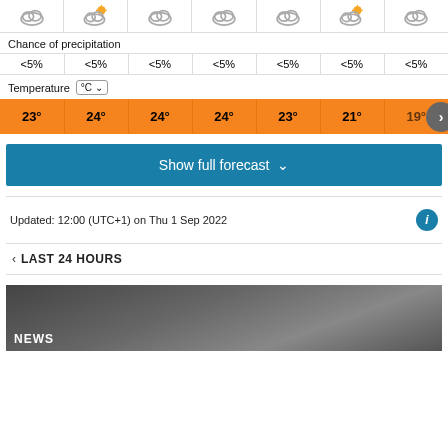[Figure (infographic): Weather forecast strip showing 7 columns with cloud/sun icons at top]
Chance of precipitation
| <5% | <5% | <5% | <5% | <5% | <5% | <5% |
Temperature °C
| 23° | 24° | 24° | 24° | 23° | 21° | 19° |
Show full forecast
Updated: 12:00 (UTC+1) on Thu 1 Sep 2022
< LAST 24 HOURS
[Figure (photo): Dark/grey news photo with NEWS label at bottom left]